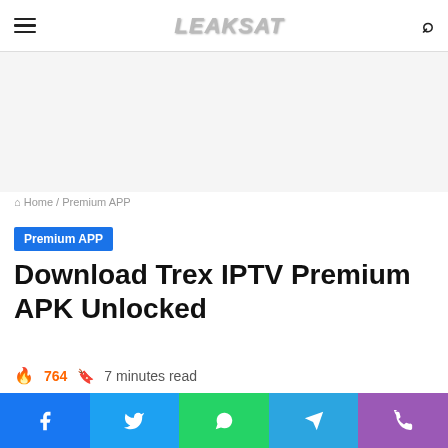LEAKSAT
Home / Premium APP
Premium APP
Download Trex IPTV Premium APK Unlocked
764  7 minutes read
[Figure (screenshot): App interface showing Live Channels, Refresh EPG, and Search content bar on dark background]
[Figure (infographic): Bottom social share bar with Facebook, Twitter, WhatsApp, Telegram, and Phone icons]